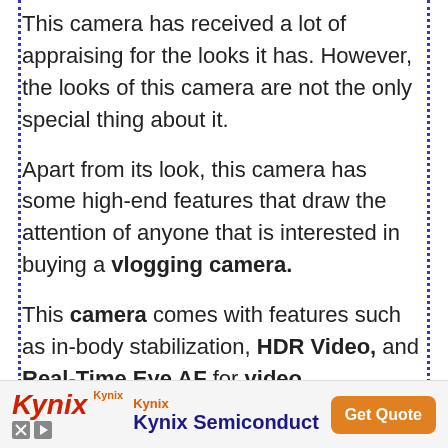This camera has received a lot of appraising for the looks it has. However, the looks of this camera are not the only special thing about it.
Apart from its look, this camera has some high-end features that draw the attention of anyone that is interested in buying a vlogging camera.
This camera comes with features such as in-body stabilization, HDR Video, and Real-Time Eye AF for video.
[Figure (other): Kynix Semiconductor advertisement banner with orange Get Quote button]